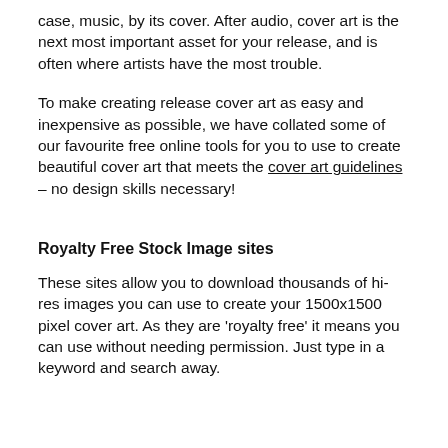case, music, by its cover. After audio, cover art is the next most important asset for your release, and is often where artists have the most trouble.
To make creating release cover art as easy and inexpensive as possible, we have collated some of our favourite free online tools for you to use to create beautiful cover art that meets the cover art guidelines – no design skills necessary!
Royalty Free Stock Image sites
These sites allow you to download thousands of hi-res images you can use to create your 1500x1500 pixel cover art. As they are 'royalty free' it means you can use without needing permission. Just type in a keyword and search away.